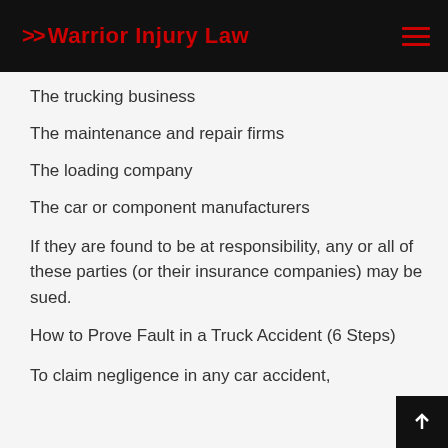Warrior Injury Law
The trucking business
The maintenance and repair firms
The loading company
The car or component manufacturers
If they are found to be at responsibility, any or all of these parties (or their insurance companies) may be sued.
How to Prove Fault in a Truck Accident (6 Steps)
To claim negligence in any car accident,